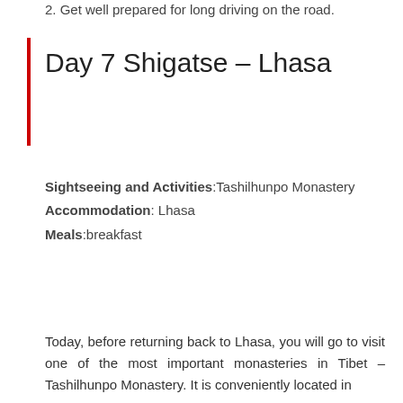2. Get well prepared for long driving on the road.
Day 7 Shigatse – Lhasa
Sightseeing and Activities:Tashilhunpo Monastery
Accommodation: Lhasa
Meals:breakfast
Today, before returning back to Lhasa, you will go to visit one of the most important monasteries in Tibet – Tashilhunpo Monastery. It is coveniently located in